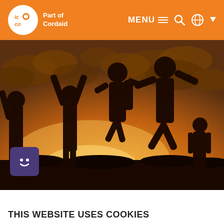[Figure (logo): ICCO Part of Cordaid logo on orange navigation bar with MENU, search, and globe icons]
[Figure (photo): Silhouette of five children jumping and playing outdoors against a dramatic orange sunset sky with clouds]
THIS WEBSITE USES COOKIES